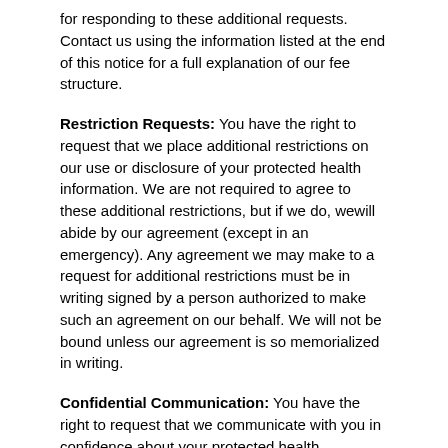for responding to these additional requests. Contact us using the information listed at the end of this notice for a full explanation of our fee structure.
Restriction Requests: You have the right to request that we place additional restrictions on our use or disclosure of your protected health information. We are not required to agree to these additional restrictions, but if we do, wewill abide by our agreement (except in an emergency). Any agreement we may make to a request for additional restrictions must be in writing signed by a person authorized to make such an agreement on our behalf. We will not be bound unless our agreement is so memorialized in writing.
Confidential Communication: You have the right to request that we communicate with you in confidence about your protected health information by alternative means or to an alternative location. You must make your request in writing. We must accommodate your request if it is reasonable, specifies the alternative means or location,and continues to permit us to bill and collect payment from you.
Amendment: You have the right to request that we amend your